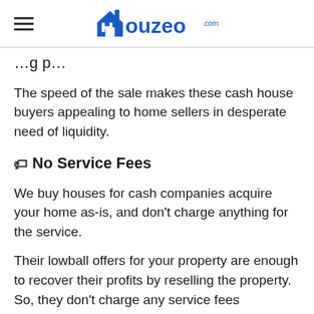Houzeo.com
…g p…
The speed of the sale makes these cash house buyers appealing to home sellers in desperate need of liquidity.
🏷 No Service Fees
We buy houses for cash companies acquire your home as-is, and don't charge anything for the service.
Their lowball offers for your property are enough to recover their profits by reselling the property. So, they don't charge any service fees